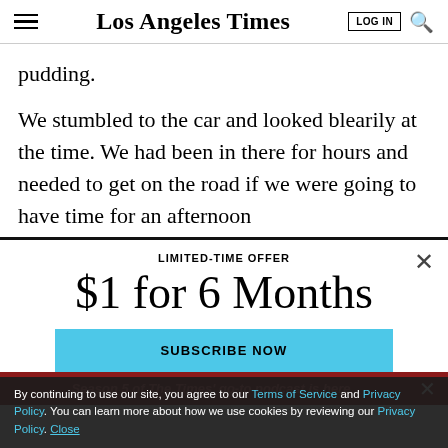Los Angeles Times
pudding.
We stumbled to the car and looked blearily at the time. We had been in there for hours and needed to get on the road if we were going to have time for an afternoon
LIMITED-TIME OFFER
$1 for 6 Months
SUBSCRIBE NOW
Season 5 of The Times' go-to podcast is here
By continuing to use our site, you agree to our Terms of Service and Privacy Policy. You can learn more about how we use cookies by reviewing our Privacy Policy. Close